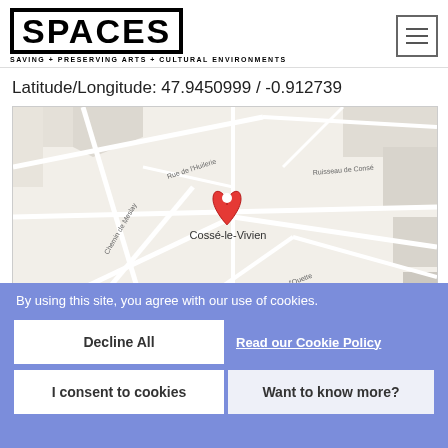SPACES — SAVING + PRESERVING ARTS + CULTURAL ENVIRONMENTS
Latitude/Longitude: 47.9450999 / -0.912739
[Figure (map): Google map showing Cossé-le-Vivien, France, with a red map pin marker at the center, streets labeled including Rue de l'Huilerie, Ruisseau de Consé, Chemin de Meslay, and de l'Ouette.]
By using this site, you agree with our use of cookies.
Decline All
Read our Cookie Policy
I consent to cookies
Want to know more?